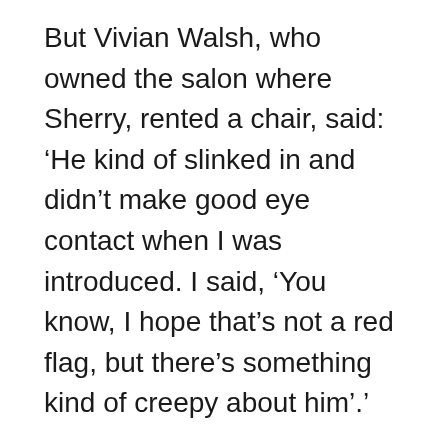But Vivian Walsh, who owned the salon where Sherry, rented a chair, said: ‘He kind of slinked in and didn’t make good eye contact when I was introduced. I said, ‘You know, I hope that’s not a red flag, but there’s something kind of creepy about him’.’
The mobster, who died at the age of 69 in 2012, assumed varying cover stories during his time in witness protection. He told people he worked for the government, an insurance investigator and an author.
When Hill met up with writer Nick Pileggi single mom Sherry did not know the book Wiseguys, which marked him in the 1990 Martin S...